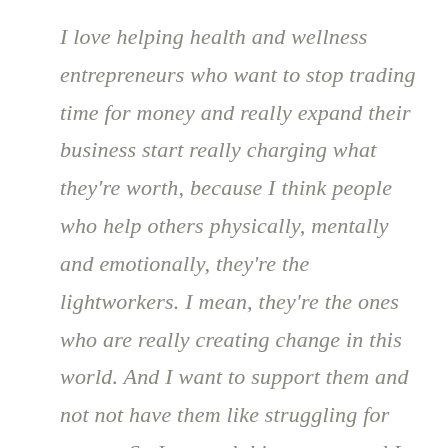I love helping health and wellness entrepreneurs who want to stop trading time for money and really expand their business start really charging what they're worth, because I think people who help others physically, mentally and emotionally, they're the lightworkers. I mean, they're the ones who are really creating change in this world. And I want to support them and not not have them like struggling for money. So I created this person, and I gave her a name, you know, and I write my copy and I, I write my podcast and I do all my work like for this girl, for this